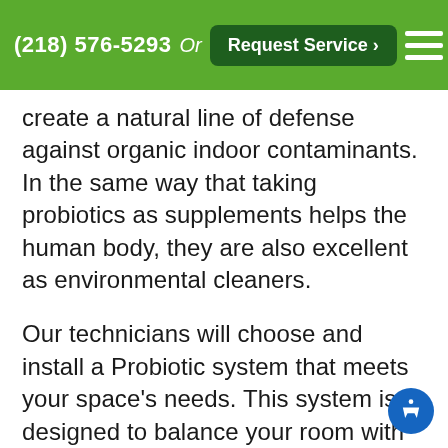(218) 576-5293  Or  Request Service >
create a natural line of defense against organic indoor contaminants. In the same way that taking probiotics as supplements helps the human body, they are also excellent as environmental cleaners.
Our technicians will choose and install a Probiotic system that meets your space's needs. This system is designed to balance your room with probiotics to overwhelm and eliminate bad bacteria, rebalancing your indoor ecology and